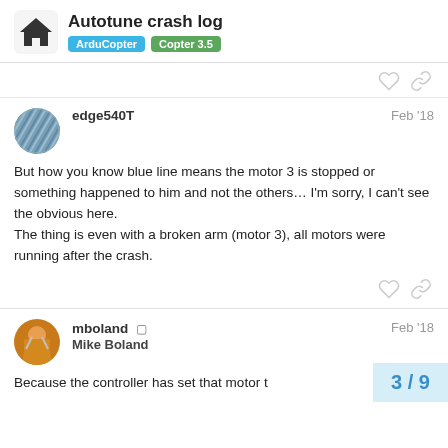Autotune crash log — ArduCopter · Copter 3.5
But how you know blue line means the motor 3 is stopped or something happened to him and not the others… I'm sorry, I can't see the obvious here.
The thing is even with a broken arm (motor 3), all motors were running after the crash.
edge540T  Feb '18
mboland  Mike Boland  Feb '18
Because the controller has set that motor t